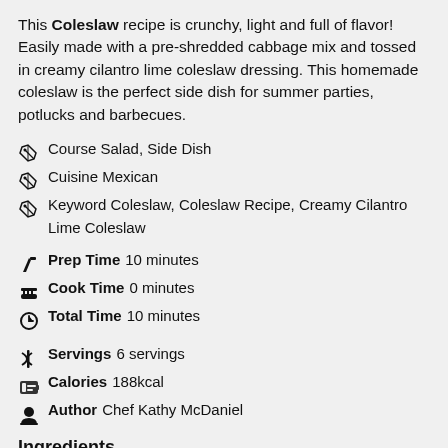This Coleslaw recipe is crunchy, light and full of flavor! Easily made with a pre-shredded cabbage mix and tossed in creamy cilantro lime coleslaw dressing. This homemade coleslaw is the perfect side dish for summer parties, potlucks and barbecues.
Course  Salad, Side Dish
Cuisine  Mexican
Keyword  Coleslaw, Coleslaw Recipe, Creamy Cilantro Lime Coleslaw
Prep Time  10 minutes
Cook Time  0 minutes
Total Time  10 minutes
Servings  6 servings
Calories  188kcal
Author  Chef Kathy McDaniel
Ingredients
For the Slaw
16 ounces coleslaw mix * see notes
3 green onions, sliced